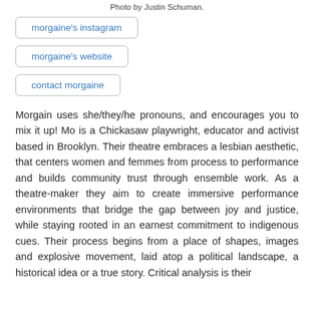Photo by Justin Schuman.
morgaine's instagram
morgaine's website
contact morgaine
Morgain uses she/they/he pronouns, and encourages you to mix it up! Mo is a Chickasaw playwright, educator and activist based in Brooklyn. Their theatre embraces a lesbian aesthetic, that centers women and femmes from process to performance and builds community trust through ensemble work. As a theatre-maker they aim to create immersive performance environments that bridge the gap between joy and justice, while staying rooted in an earnest commitment to indigenous cues. Their process begins from a place of shapes, images and explosive movement, laid atop a political landscape, a historical idea or a true story. Critical analysis is their